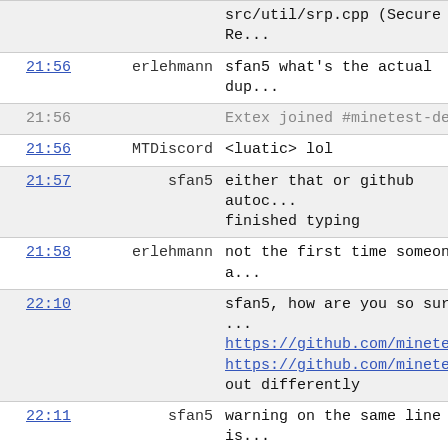| time | user | message |
| --- | --- | --- |
|  |  | src/util/srp.cpp (Secure Re... |
| 21:56 | erlehmann | sfan5 what's the actual dup... |
| 21:56 |  | Extex joined #minetest-dev |
| 21:56 | MTDiscord | <luatic> lol |
| 21:57 | sfan5 | either that or github autoc... finished typing |
| 21:58 | erlehmann | not the first time someone a... |
| 22:10 |  | sfan5, how are you so sure ... https://github.com/minetest... https://github.com/minetest... out differently |
| 22:11 | sfan5 | warning on the same line is... |
| 23:46 | erlehmann | after having compiled the n... what everyone keeps saying ... fps on a thinkpad that's ol... on |
| 23:46 |  | and the water render bug fi... |
| 23:46 |  | thanks to whoever worked th... |